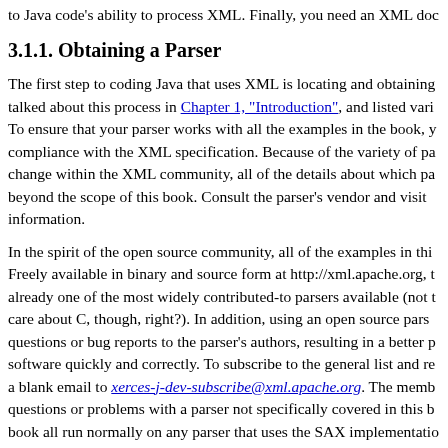a parser, you must ensure that a copy of the JAXP classes is in your classpath, to Java code's ability to process XML. Finally, you need an XML document to parse.
3.1.1. Obtaining a Parser
The first step to coding Java that uses XML is locating and obtaining an XML parser. I talked about this process in Chapter 1, "Introduction", and listed various parsers available. To ensure that your parser works with all the examples in the book, you should check for compliance with the XML specification. Because of the variety of parsers available, and the change within the XML community, all of the details about which parser to use are well beyond the scope of this book. Consult the parser's vendor and visit their web site for more information.
In the spirit of the open source community, all of the examples in this book use Xerces. Freely available in binary and source form at http://xml.apache.org, the Xerces parser is already one of the most widely contributed-to parsers available (not that you really care about C, though, right?). In addition, using an open source parser means you can send questions or bug reports to the parser's authors, resulting in a better product; it evolves software quickly and correctly. To subscribe to the general list and receive information, send a blank email to xerces-j-dev-subscribe@xml.apache.org. The members can answer questions or problems with a parser not specifically covered in this book. Examples in this book all run normally on any parser that uses the SAX implementation.
Once you have selected and downloaded an XML parser, make sure it is in your classpath, be an IDE (Integrated Development Environment) or a command line tool for setting the classpath. This will be a basic requirement for all further examples.